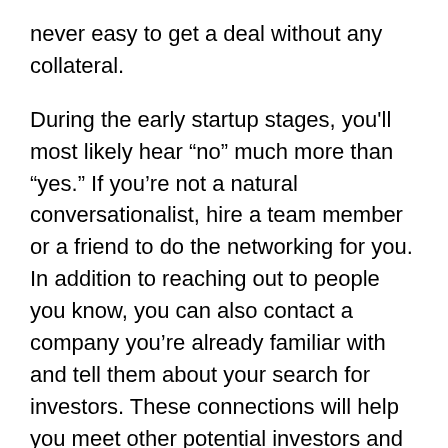never easy to get a deal without any collateral.
During the early startup stages, you'll most likely hear “no” much more than “yes.” If you’re not a natural conversationalist, hire a team member or a friend to do the networking for you. In addition to reaching out to people you know, you can also contact a company you’re already familiar with and tell them about your search for investors. These connections will help you meet other potential investors and potentially secure funding for your business.
The best way to build a network of potential investors is to ask people you know about their relationships and see if they know anyone who is